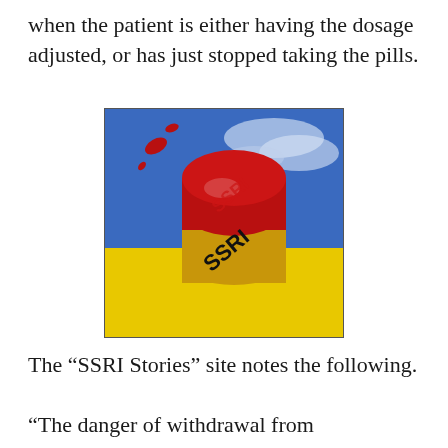when the patient is either having the dosage adjusted, or has just stopped taking the pills.
[Figure (photo): A large red and yellow capsule pill labeled 'SSRI' in bold black text on the yellow half and 'SSRI' in red on the red cap, with small red pill fragments floating above it, set against a blue cloudy sky background and yellow ground.]
The “SSRI Stories” site notes the following.
“The danger of withdrawal from antidepressants and antipsychotics is well documented. The brain tries